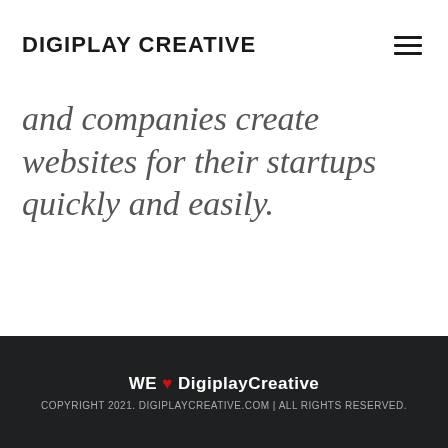DIGIPLAY CREATIVE
and companies create websites for their startups quickly and easily.
WE ❤ DigiplayCreative
COPYRIGHT 2021. DIGIPLAYCREATIVE.COM | ALL RIGHTS RESERVED.